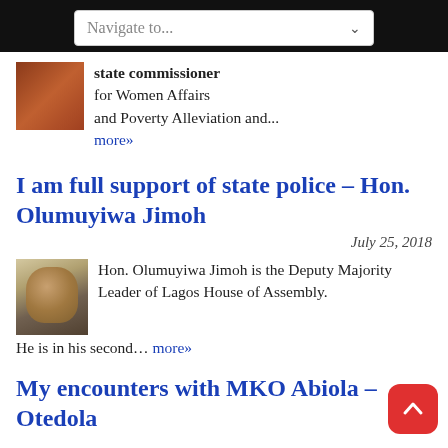Navigate to...
state commissioner for Women Affairs and Poverty Alleviation and...
more»
I am full support of state police – Hon. Olumuyiwa Jimoh
July 25, 2018
Hon. Olumuyiwa Jimoh is the Deputy Majority Leader of Lagos House of Assembly. He is in his second... more»
My encounters with MKO Abiola – Otedola